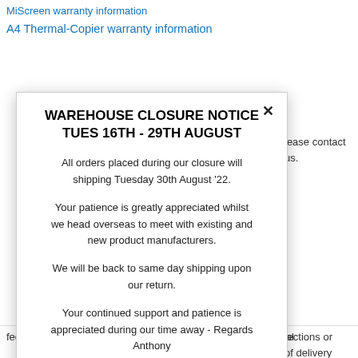MiScreen warranty information
A4 Thermal-Copier warranty information
WAREHOUSE CLOSURE NOTICE
TUES 16TH - 29TH AUGUST
All orders placed during our closure will shipping Tuesday 30th August '22.
Your patience is greatly appreciated whilst we head overseas to meet with existing and new product manufacturers.
We will be back to same day shipping upon our return.
Your continued support and patience is appreciated during our time away - Regards Anthony
fee. No clothing items will accepted for return unless in original
lease contact us.
fections or
of delivery
hanced,
epted by the
le for change of
y does not
customer.
for incorrect
22% restocking